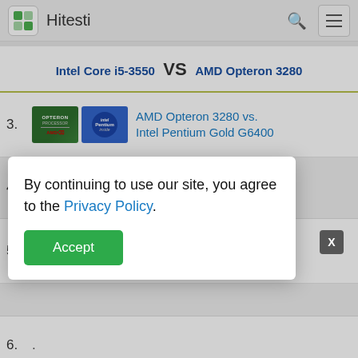Hitesti
Intel Core i5-3550 VS AMD Opteron 3280
3. AMD Opteron 3280 vs. Intel Pentium Gold G6400
By continuing to use our site, you agree to the Privacy Policy. Accept
5. Intel Core i5-3550 vs. Intel Core m5-6Y57
6.